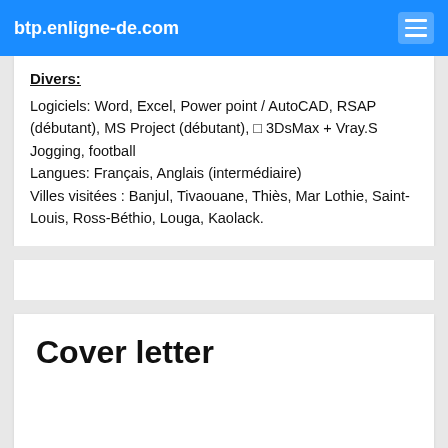btp.enligne-de.com
Divers:
Logiciels: Word, Excel, Power point / AutoCAD, RSAP (débutant), MS Project (débutant), □ 3DsMax + Vray.S Jogging, football
Langues: Français, Anglais (intermédiaire)
Villes visitées : Banjul, Tivaouane, Thiès, Mar Lothie, Saint-Louis, Ross-Béthio, Louga, Kaolack.
Cover letter